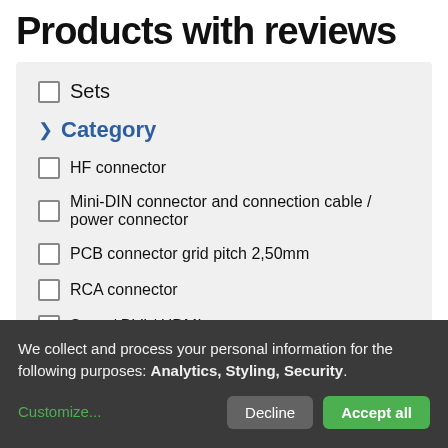Products with reviews
Sets
Category
HF connector
Mini-DIN connector and connection cable / power connector
PCB connector grid pitch 2,50mm
RCA connector
Scart / DVI / HDMI connector
USB connector and USB connection cable
We collect and process your personal information for the following purposes: Analytics, Styling, Security.
Customize...
Decline
Accept all